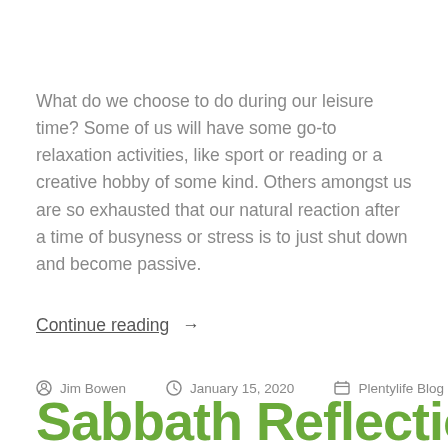What do we choose to do during our leisure time? Some of us will have some go-to relaxation activities, like sport or reading or a creative hobby of some kind. Others amongst us are so exhausted that our natural reaction after a time of busyness or stress is to just shut down and become passive.
Continue reading →
By Jim Bowen   January 15, 2020   Plentylife Blog
Sabbath Reflection